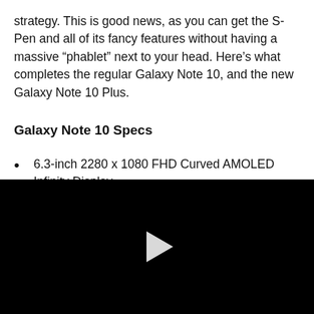strategy. This is good news, as you can get the S-Pen and all of its fancy features without having a massive “phablet” next to your head. Here’s what completes the regular Galaxy Note 10, and the new Galaxy Note 10 Plus.
Galaxy Note 10 Specs
6.3-inch 2280 x 1080 FHD Curved AMOLED Infinity Display
6.8-inch 3040 x 1440 Quad-HD Curved AMOLED
[Figure (screenshot): Black video player area with a white play button triangle in the center]